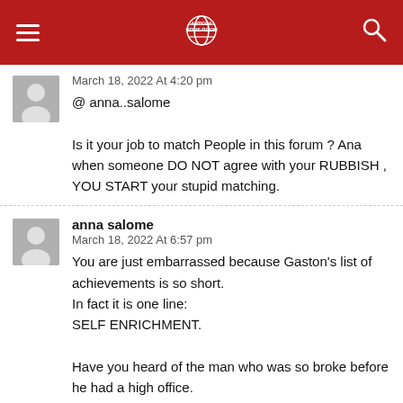Antigua News Room
March 18, 2022 At 4:20 pm
@ anna..salome

Is it your job to match People in this forum ? Ana when someone DO NOT agree with your RUBBISH , YOU START your stupid matching.
anna salome
March 18, 2022 At 6:57 pm
You are just embarrassed because Gaston's list of achievements is so short.
In fact it is one line:
SELF ENRICHMENT.

Have you heard of the man who was so broke before he had a high office.